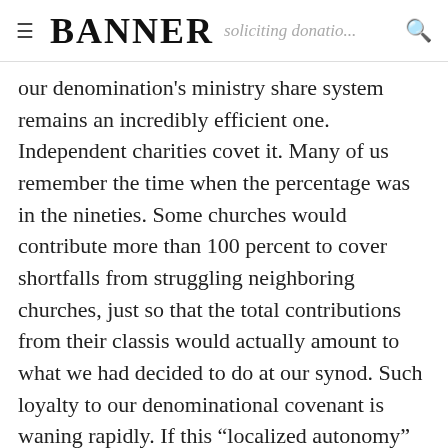≡ BANNER  …soliciting donatio…  🔍
our denomination's ministry share system remains an incredibly efficient one. Independent charities covet it. Many of us remember the time when the percentage was in the nineties. Some churches would contribute more than 100 percent to cover shortfalls from struggling neighboring churches, just so that the total contributions from their classis would actually amount to what we had decided to do at our synod. Such loyalty to our denominational covenant is waning rapidly. If this “localized autonomy” trend